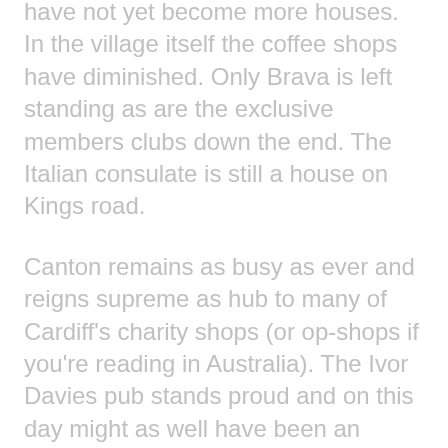have not yet become more houses. In the village itself the coffee shops have diminished. Only Brava is left standing as are the exclusive members clubs down the end. The Italian consulate is still a house on Kings road.
Canton remains as busy as ever and reigns supreme as hub to many of Cardiff's charity shops (or op-shops if you're reading in Australia). The Ivor Davies pub stands proud and on this day might as well have been an ICEHOUSE (pun intended).